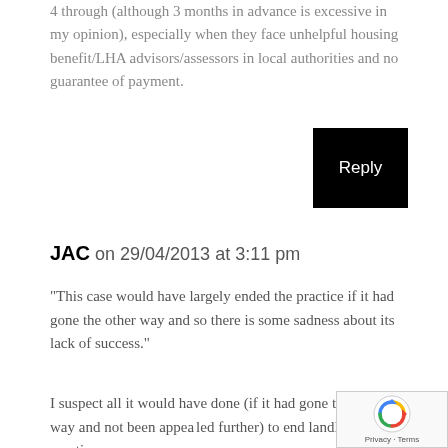4 through (although 3 months in advance is excessive in my opinion), especially when they face unhelpful housing benefit/LHA advisors/assessors in local authorities and no guarantee of payment.
[Figure (other): Black Reply button]
JAC on 29/04/2013 at 3:11 pm
“This case would have largely ended the practice if it had gone the other way and so there is some sadness about its lack of success.”
I suspect all it would have done (if it had gone the other way and not been appealed further) to end landlord practice